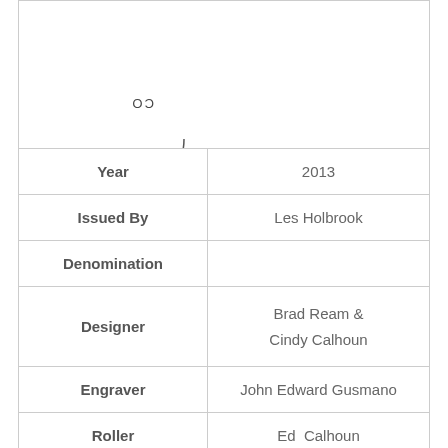[Figure (logo): Partial circular logo/seal with text 'ATED' and 'CO' visible, rotated/inverted at top of page]
| Year | 2013 |
| Issued By | Les Holbrook |
| Denomination |  |
| Designer | Brad Ream & Cindy Calhoun |
| Engraver | John Edward Gusmano |
| Roller | Ed  Calhoun |